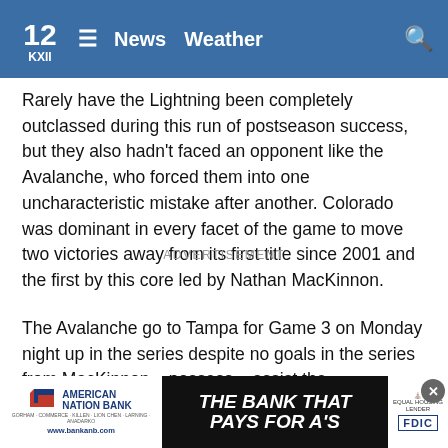KXII - News Weather
Rarely have the Lightning been completely outclassed during this run of postseason success, but they also hadn't faced an opponent like the Avalanche, who forced them into one uncharacteristic mistake after another. Colorado was dominant in every facet of the game to move two victories away from its first title since 2001 and the first by this core led by Nathan MacKinnon.
ADVERTISEMENT
The Avalanche go to Tampa for Game 3 on Monday night up in the series despite no goals in the series from MacKinnon... possess... assist the
[Figure (other): American Nation Bank advertisement banner: 'THE BANK THAT PAYS FOR A'S' with FDIC logo and equal housing lender icon]